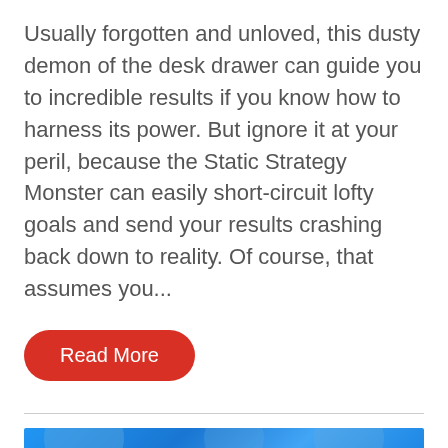Usually forgotten and unloved, this dusty demon of the desk drawer can guide you to incredible results if you know how to harness its power. But ignore it at your peril, because the Static Strategy Monster can easily short-circuit lofty goals and send your results crashing back down to reality. Of course, that assumes you...
Read More
[Figure (illustration): Blue banner image strip at bottom of page with circular shapes visible]